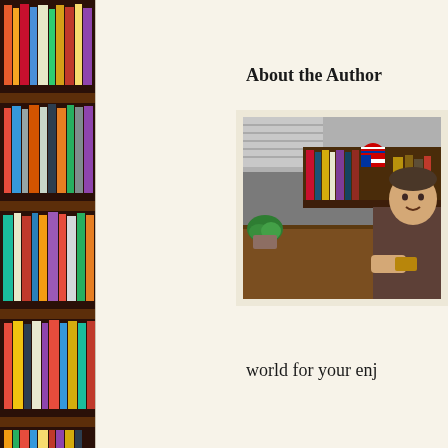[Figure (photo): Bookshelf with colorful books on dark wooden shelves, left side panel]
About the Author
[Figure (photo): Author seated at a wooden desk with books and an American flag-themed decoration on a shelf behind, in a room with gray walls]
world for your enj